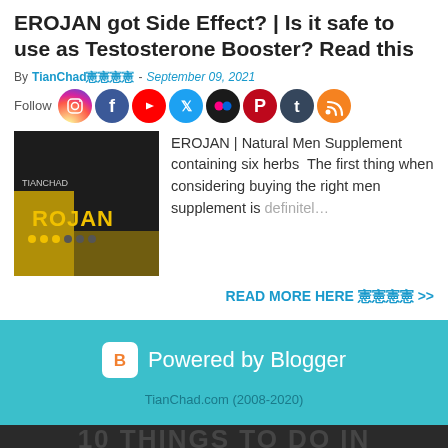EROJAN got Side Effect? | Is it safe to use as Testosterone Booster? Read this
By TianChad憲憲憲憲 - September 09, 2021
[Figure (other): Social media follow icons row: Instagram, Facebook, YouTube, Twitter, Flickr, Pinterest, Tumblr, RSS]
[Figure (photo): EROJAN product promotional image with man in dark suit and yellow/black branding]
EROJAN | Natural Men Supplement containing six herbs  The first thing when considering buying the right men supplement is definitel…
READ MORE HERE 憲憲憲憲 >>
[Figure (logo): Powered by Blogger logo with B icon]
TianChad.com (2008-2020)
[Figure (photo): Dark background image with faint text: 10 THINGS TO DO IN OLD CITY KL AU...]
[Figure (other): Social share bar: Facebook, Twitter, WhatsApp, Pinterest, More]